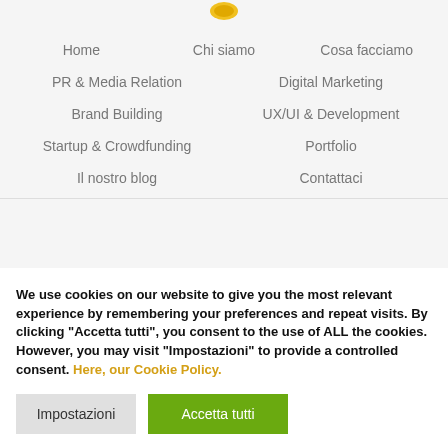[Figure (logo): Yellow/orange circular logo partially visible at top]
Home
Chi siamo
Cosa facciamo
PR & Media Relation
Digital Marketing
Brand Building
UX/UI & Development
Startup & Crowdfunding
Portfolio
Il nostro blog
Contattaci
We use cookies on our website to give you the most relevant experience by remembering your preferences and repeat visits. By clicking “Accetta tutti”, you consent to the use of ALL the cookies. However, you may visit "Impostazioni" to provide a controlled consent. Here, our Cookie Policy.
Impostazioni
Accetta tutti